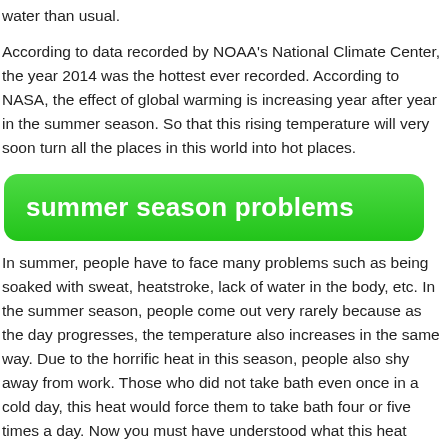water than usual.
According to data recorded by NOAA's National Climate Center, the year 2014 was the hottest ever recorded. According to NASA, the effect of global warming is increasing year after year in the summer season. So that this rising temperature will very soon turn all the places in this world into hot places.
summer season problems
In summer, people have to face many problems such as being soaked with sweat, heatstroke, lack of water in the body, etc. In the summer season, people come out very rarely because as the day progresses, the temperature also increases in the same way. Due to the horrific heat in this season, people also shy away from work. Those who did not take bath even once in a cold day, this heat would force them to take bath four or five times a day. Now you must have understood what this heat does